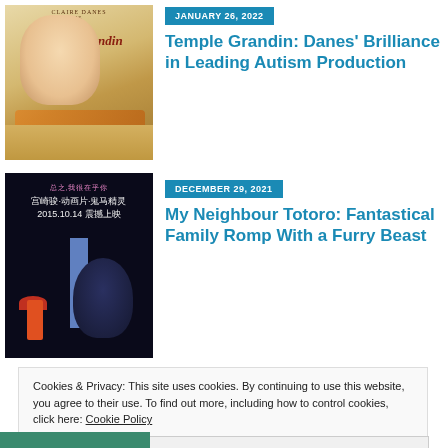[Figure (photo): Movie poster for Temple Grandin featuring Claire Danes]
JANUARY 26, 2022
Temple Grandin: Danes' Brilliance in Leading Autism Production
[Figure (photo): Movie poster for My Neighbour Totoro showing Totoro, a girl with umbrella, and Japanese text]
DECEMBER 29, 2021
My Neighbour Totoro: Fantastical Family Romp With a Furry Beast
Cookies & Privacy: This site uses cookies. By continuing to use this website, you agree to their use. To find out more, including how to control cookies, click here: Cookie Policy
Accept & Close